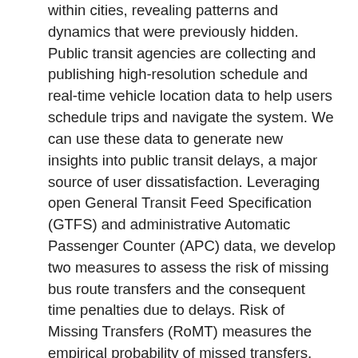within cities, revealing patterns and dynamics that were previously hidden. Public transit agencies are collecting and publishing high-resolution schedule and real-time vehicle location data to help users schedule trips and navigate the system. We can use these data to generate new insights into public transit delays, a major source of user dissatisfaction. Leveraging open General Transit Feed Specification (GTFS) and administrative Automatic Passenger Counter (APC) data, we develop two measures to assess the risk of missing bus route transfers and the consequent time penalties due to delays. Risk of Missing Transfers (RoMT) measures the empirical probability of missed transfers, and Average Total Time Penalty (ATTP)